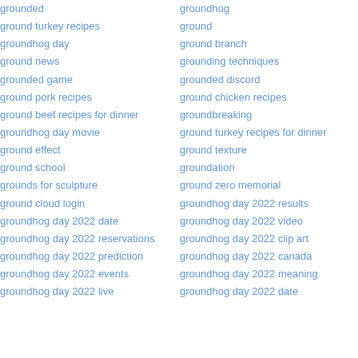grounded
ground turkey recipes
groundhog day
ground news
grounded game
ground pork recipes
ground beef recipes for dinner
groundhog day movie
ground effect
ground school
grounds for sculpture
ground cloud login
groundhog day 2022 date
groundhog day 2022 reservations
groundhog day 2022 prediction
groundhog day 2022 events
groundhog day 2022 live
groundhog
ground
ground branch
grounding techniques
grounded discord
ground chicken recipes
groundbreaking
ground turkey recipes for dinner
ground texture
groundation
ground zero memorial
groundhog day 2022 results
groundhog day 2022 video
groundhog day 2022 clip art
groundhog day 2022 canada
groundhog day 2022 meaning
groundhog day 2022 date